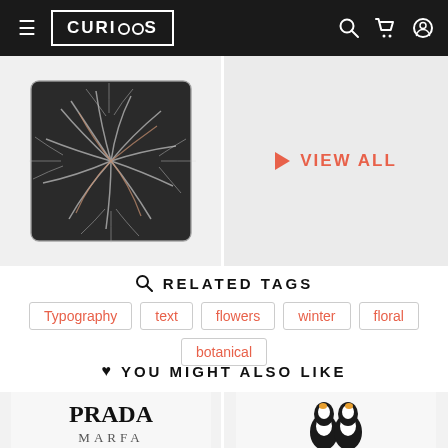CURIOOS
[Figure (photo): Dark palm leaf pattern decorative pillow on white background]
[Figure (other): Light grey box with VIEW ALL button in salmon/coral color with play triangle icon]
RELATED TAGS
Typography
text
flowers
winter
floral
botanical
YOU MIGHT ALSO LIKE
[Figure (photo): White pillow with PRADA MARFA text in black]
[Figure (photo): White pillow with two penguins illustration]